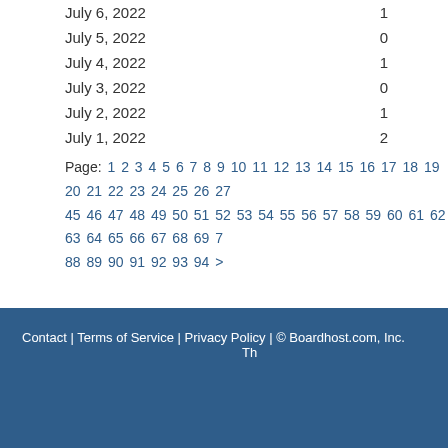July 6, 2022   1
July 5, 2022   0
July 4, 2022   1
July 3, 2022   0
July 2, 2022   1
July 1, 2022   2
Page: 1 2 3 4 5 6 7 8 9 10 11 12 13 14 15 16 17 18 19 20 21 22 23 24 25 26 27 45 46 47 48 49 50 51 52 53 54 55 56 57 58 59 60 61 62 63 64 65 66 67 68 69 7 88 89 90 91 92 93 94 >
Contact | Terms of Service | Privacy Policy | © Boardhost.com, Inc.   Th